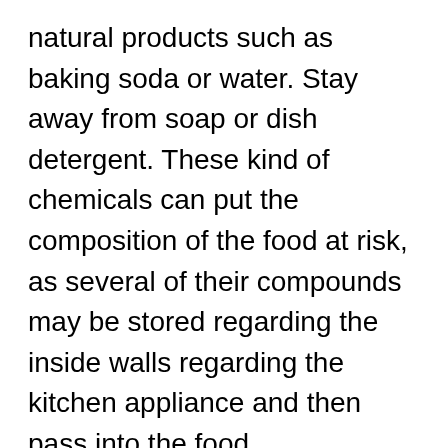natural products such as baking soda or water. Stay away from soap or dish detergent. These kind of chemicals can put the composition of the food at risk, as several of their compounds may be stored regarding the inside walls regarding the kitchen appliance and then pass into the food.
✓ Conclusion on the review of the best pre owned and second hand used refrigerators